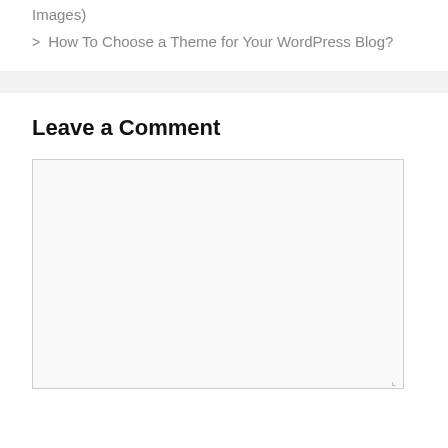Images)
> How To Choose a Theme for Your WordPress Blog?
Leave a Comment
[Figure (screenshot): Empty comment text area input box with resize handle in bottom right corner]